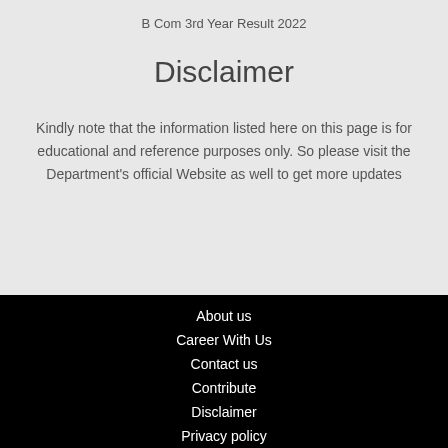B Com 3rd Year Result 2022
Disclaimer
Kindly note that the information listed here on this page is for educational and reference purposes only. So please visit the Department's official Website as well to get more updates
About us
Career With Us
Contact us
Contribute
Disclaimer
Privacy policy